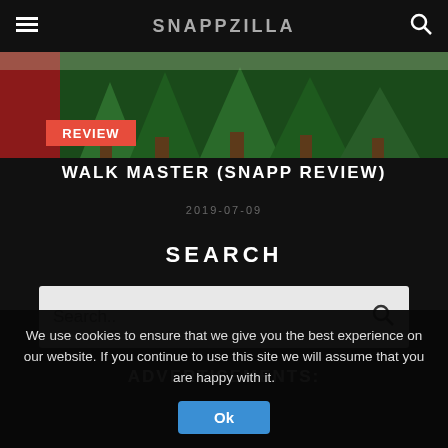SNAPPZILLA
[Figure (photo): Review banner image with REVIEW badge, showing colorful game artwork with green trees and character]
WALK MASTER (SNAPP REVIEW)
2019-07-09
SEARCH
Search..
ADVERTISEMENTS:
We use cookies to ensure that we give you the best experience on our website. If you continue to use this site we will assume that you are happy with it.